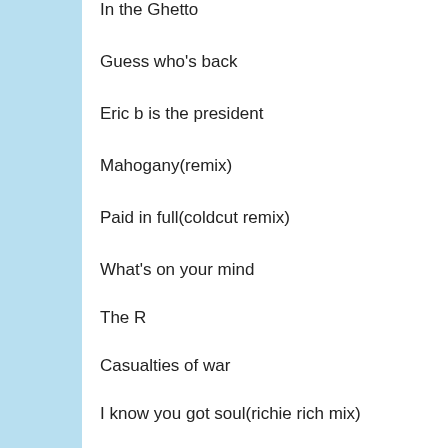In the Ghetto
Guess who's back
Eric b is the president
Mahogany(remix)
Paid in full(coldcut remix)
What's on your mind
The R
Casualties of war
I know you got soul(richie rich mix)